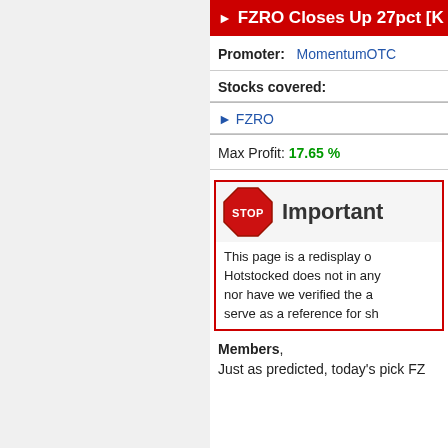▶ FZRO Closes Up 27pct [K…
Promoter: MomentumOTC
Stocks covered:
▸ FZRO
Max Profit: 17.65 %
[Figure (other): Stop sign warning box with 'Important' heading and disclaimer text: This page is a redisplay of... Hotstocked does not in any... nor have we verified the ac... serve as a reference for sha...]
Members,
Just as predicted, today's pick FZ…